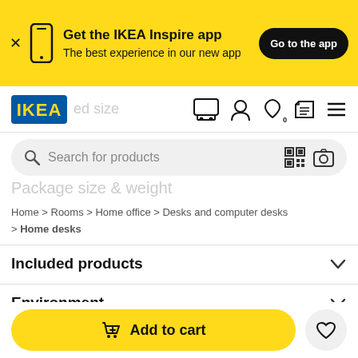[Figure (screenshot): IKEA app promotional banner with phone icon, text 'Get the IKEA Inspire app - The best experience in our new app', and 'Go to the app' button]
[Figure (logo): IKEA blue and yellow logo]
Search for products
Package size & weight
Home > Rooms > Home office > Desks and computer desks > Home desks
Included products
Environment
Add to cart